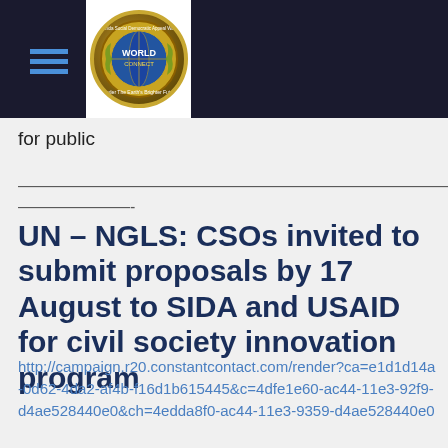for public
——————————————————————————————————————————————————————————————————————-
UN – NGLS: CSOs invited to submit proposals by 17 August to SIDA and USAID for civil society innovation program
http://campaign.r20.constantcontact.com/render?ca=e1d1d14a-0d62-4da2-af4b-f16d1b615445&c=4dfe1e60-ac44-11e3-92f9-d4ae528440e0&ch=4edda8f0-ac44-11e3-9359-d4ae528440e0